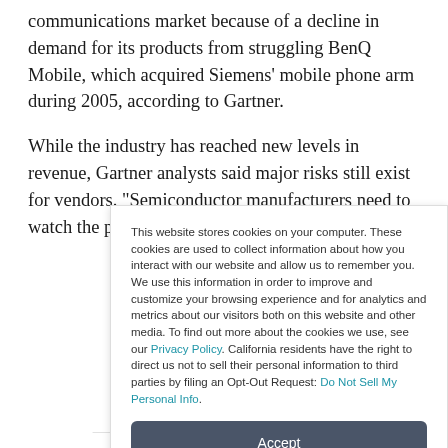communications market because of a decline in demand for its products from struggling BenQ Mobile, which acquired Siemens' mobile phone arm during 2005, according to Gartner.
While the industry has reached new levels in revenue, Gartner analysts said major risks still exist for vendors. "Semiconductor manufacturers need to watch the performance of their end
This website stores cookies on your computer. These cookies are used to collect information about how you interact with our website and allow us to remember you. We use this information in order to improve and customize your browsing experience and for analytics and metrics about our visitors both on this website and other media. To find out more about the cookies we use, see our Privacy Policy. California residents have the right to direct us not to sell their personal information to third parties by filing an Opt-Out Request: Do Not Sell My Personal Info.
Accept